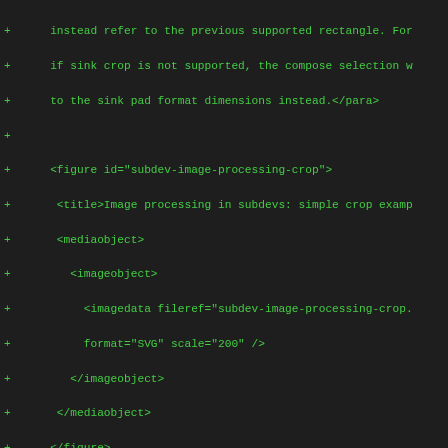instead refer to the previous supported rectangle. For if sink crop is not supported, the compose selection w to the sink pad format dimensions instead.</para>
<figure id="subdev-image-processing-crop">
<title>Image processing in subdevs: simple crop examp
<mediaobject>
<imageobject>
<imagedata fileref="subdev-image-processing-crop.
format="SVG" scale="200" />
</imageobject>
</mediaobject>
</figure>
<para>In the above example, the subdev supports croppi sink pad. To configure it, the user sets the media bus the subdev's sink pad. Now the actual crop rectangle c on the sink pad --- the location and size of this rect reflect the location and size of a rectangle to be cro the sink format. The size of the sink crop rectangle w be the size of the format of the subdev's source pad.<
<figure id="subdev-image-processing-scaling-multi-sour
<title>Image processing in subdevs: scaling with mult
<mediaobject>